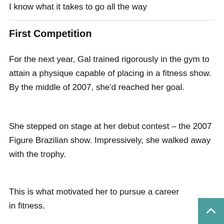I know what it takes to go all the way
First Competition
For the next year, Gal trained rigorously in the gym to attain a physique capable of placing in a fitness show. By the middle of 2007, she'd reached her goal.
She stepped on stage at her debut contest – the 2007 Figure Brazilian show. Impressively, she walked away with the trophy.
This is what motivated her to pursue a career in fitness.